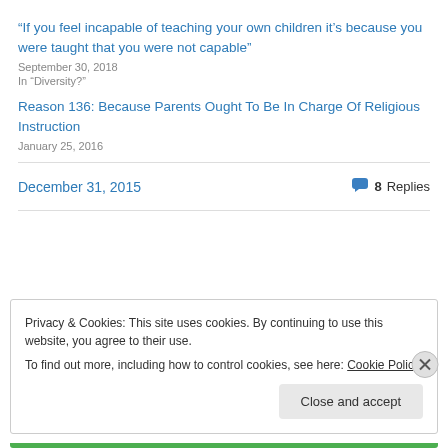“If you feel incapable of teaching your own children it’s because you were taught that you were not capable”
September 30, 2018
In “Diversity?”
Reason 136: Because Parents Ought To Be In Charge Of Religious Instruction
January 25, 2016
December 31, 2015
8 Replies
Privacy & Cookies: This site uses cookies. By continuing to use this website, you agree to their use.
To find out more, including how to control cookies, see here: Cookie Policy
Close and accept